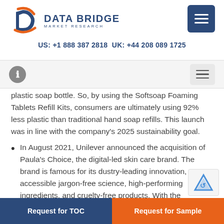DATA BRIDGE MARKET RESEARCH | US: +1 888 387 2818 UK: +44 208 089 1725
plastic soap bottle. So, by using the Softsoap Foaming Tablets Refill Kits, consumers are ultimately using 92% less plastic than traditional hand soap refills. This launch was in line with the company’s 2025 sustainability goal.
In August 2021, Unilever announced the acquisition of Paula’s Choice, the digital-led skin care brand. The brand is famous for its dustry-leading innovation, accessible jargon-free science, high-performing ingredients, and cruelty-free products. With the
Request for TOC | Request for Sample